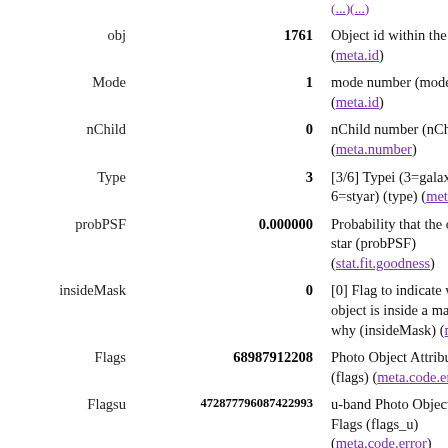| Field | Value | Description |
| --- | --- | --- |
| obj | 1761 | Object id within the field (meta.id) |
| Mode | 1 | mode number (mode) (meta.id) |
| nChild | 0 | nChild number (nChild) (meta.number) |
| Type | 3 | [3/6] Typei (3=galaxy, 6=styar) (type) (meta.co...) |
| probPSF | 0.000000 | Probability that the object is a star (probPSF) (stat.fit.goodness) |
| insideMask | 0 | [0] Flag to indicate whether object is inside a mask and why (insideMask) (meta...) |
| Flags | 68987912208 | Photo Object Attribute Flags (flags) (meta.code.error...) |
| Flagsu | 472877796087422993 | u-band Photo Object Attribute Flags (flags_u) (meta.code.error) |
| Flagsg | 2252074960060432 | g-band Photo Object Attribute Flags (flags_g) (meta.code.error) |
| Flagsr | 675567458743002 8 | r-band Photo Object Att... |